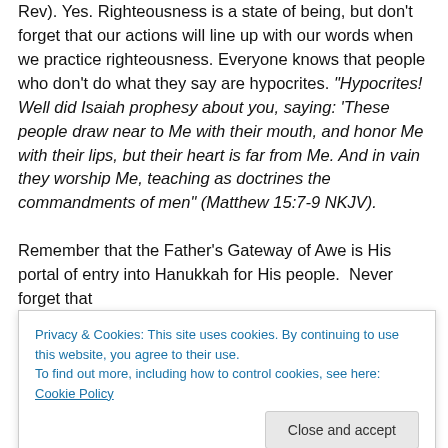Rev). Yes. Righteousness is a state of being, but don't forget that our actions will line up with our words when we practice righteousness. Everyone knows that people who don't do what they say are hypocrites. “Hypocrites! Well did Isaiah prophesy about you, saying: ‘These people draw near to Me with their mouth, and honor Me with their lips, but their heart is far from Me. And in vain they worship Me, teaching as doctrines the commandments of men” (Matthew 15:7-9 NKJV).
Remember that the Father’s Gateway of Awe is His portal of entry into Hanukkah for His people. Never forget that
Privacy & Cookies: This site uses cookies. By continuing to use this website, you agree to their use.
To find out more, including how to control cookies, see here: Cookie Policy
perfectionism, so let’s embrace His great grace, as we